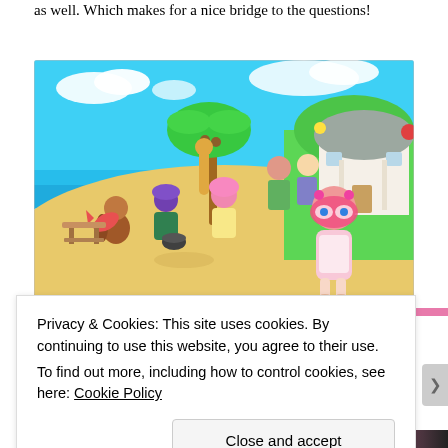as well. Which makes for a nice bridge to the questions!
[Figure (screenshot): Animal Crossing: New Horizons game screenshot showing cartoon villagers on a tropical island beach with palm trees, sandy shore, blue water, and a white house in the background. Characters include a pink-haired villain in the foreground wearing a flower mask and pink dress.]
Privacy & Cookies: This site uses cookies. By continuing to use this website, you agree to their use.
To find out more, including how to control cookies, see here: Cookie Policy
Close and accept